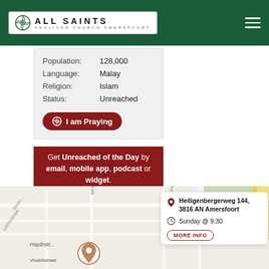[Figure (screenshot): All Saints Anglican Church Amersfoort logo on green header bar with hamburger menu icon]
| Population: | 128,000 |
| Language: | Malay |
| Religion: | Islam |
| Status: | Unreached |
I am Praying
Get Unreached of the Day by email, mobile app, podcast or widget.
[Figure (map): Google Maps screenshot showing streets near Heiligenbergerweg 144, Amersfoort, with Vivaldistraat, Haydnstraat, and Leusden visible. A map pin marks the church location. A popup shows address and service time.]
Heiligenbergerweg 144, 3816 AN Amersfoort
Sunday @ 9:30
MORE INFO